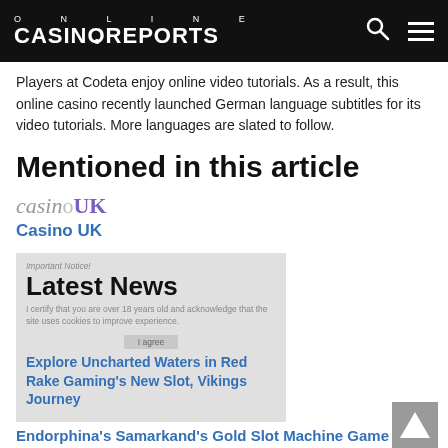ONLINE CASINOREPORTS
Players at Codeta enjoy online video tutorials. As a result, this online casino recently launched German language subtitles for its video tutorials. More languages are slated to follow.
Mentioned in this article
[Figure (logo): Casino UK logo with 'casino' in grey italic and 'UK' in purple bold]
Casino UK
Latest News
Important Notice! ... I certify that you are over 18 years old and acknowledge that the site uses cookies to improve experience.
Explore Uncharted Waters in Red Rake Gaming's New Slot, Vikings Journey
Endorphina's Samarkand's Gold Slot Machine Game Unearthed for Players